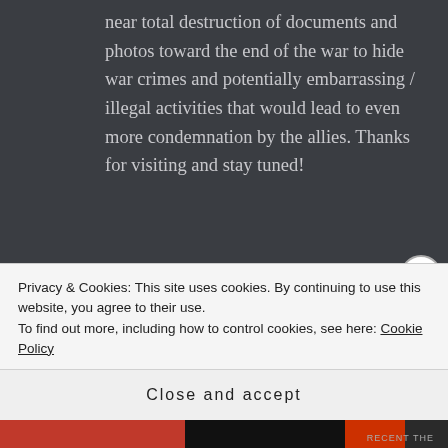near total destruction of documents and photos toward the end of the war to hide war crimes and potentially embarrassing / illegal activities that would lead to even more condemnation by the allies. Thanks for visiting and stay tuned!
★ Like
👍 1 👎 0 ℹ Rate This
Privacy & Cookies: This site uses cookies. By continuing to use this website, you agree to their use.
To find out more, including how to control cookies, see here: Cookie Policy
Close and accept